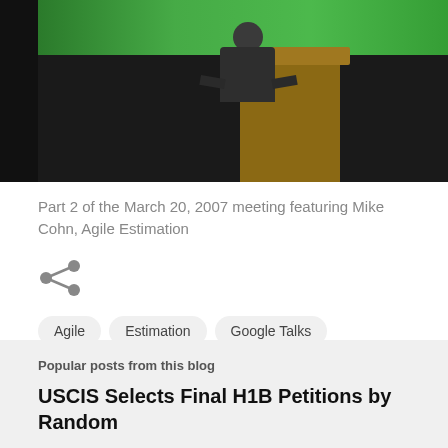[Figure (photo): A person standing at a wooden podium/lectern on a dark stage, with a green presentation screen visible in the background above.]
Part 2 of the March 20, 2007 meeting featuring Mike Cohn, Agile Estimation
[Figure (other): Share icon (three connected dots forming a share symbol)]
Agile   Estimation   Google Talks   Mike Cohn
Post a Comment
Popular posts from this blog
USCIS Selects Final H1B Petitions by Random